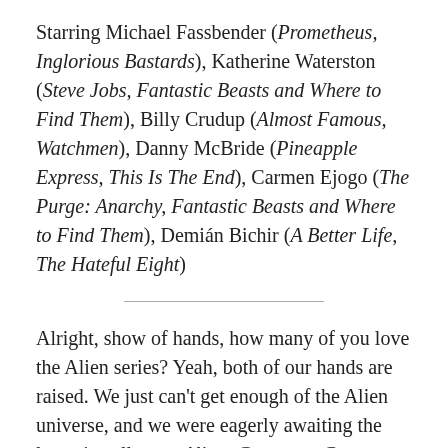Starring Michael Fassbender (Prometheus, Inglorious Bastards), Katherine Waterston (Steve Jobs, Fantastic Beasts and Where to Find Them), Billy Crudup (Almost Famous, Watchmen), Danny McBride (Pineapple Express, This Is The End), Carmen Ejogo (The Purge: Anarchy, Fantastic Beasts and Where to Find Them), Demián Bichir (A Better Life, The Hateful Eight)
Alright, show of hands, how many of you love the Alien series? Yeah, both of our hands are raised. We just can't get enough of the Alien universe, and we were eagerly awaiting the latest installment: Alien: Covenant. Can we see too many people